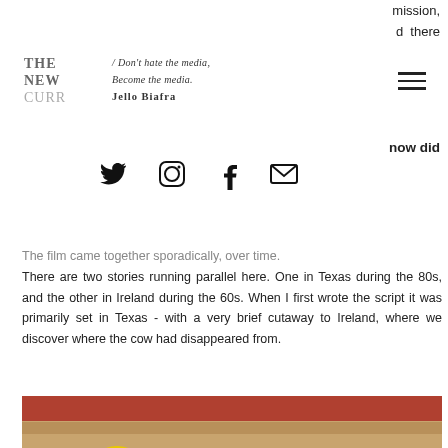mission, d there
[Figure (logo): THE NEW CURR logo in top left]
/ Don't hate the media, become the media. Jello Biafra
now did
[Figure (other): Social media icons: Twitter, Instagram, Facebook, Email]
The film came together sporadically, over time. There are two stories running parallel here. One in Texas during the 80s, and the other in Ireland during the 60s. When I first wrote the script it was primarily set in Texas - with a very brief cutaway to Ireland, where we discover where the cow had disappeared from.
[Figure (photo): Three people in hazmat suits and gas masks standing together. Two in yellow suits on the sides, one in white suit with orange markings in the center. Background shows wooden structure with red roof.]